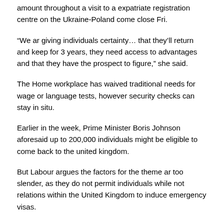amount throughout a visit to a expatriate registration centre on the Ukraine-Poland come close Fri.
“We ar giving individuals certainty… that they’ll return and keep for 3 years, they need access to advantages and that they have the prospect to figure,” she said.
The Home workplace has waived traditional needs for wage or language tests, however security checks can stay in situ.
Earlier in the week, Prime Minister Boris Johnson aforesaid up to 200,000 individuals might be eligible to come back to the united kingdom.
But Labour argues the factors for the theme ar too slender, as they do not permit individuals while not relations within the United Kingdom to induce emergency visas.